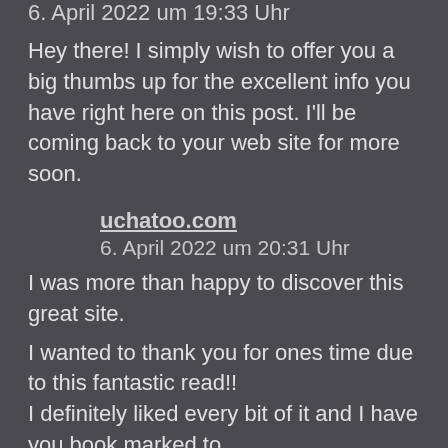6. April 2022 um 19:33 Uhr
Hey there! I simply wish to offer you a big thumbs up for the excellent info you have right here on this post. I'll be coming back to your web site for more soon.
uchatoo.com
6. April 2022 um 20:31 Uhr
I was more than happy to discover this great site.
I wanted to thank you for ones time due to this fantastic read!!
I definitely liked every bit of it and I have you book marked to